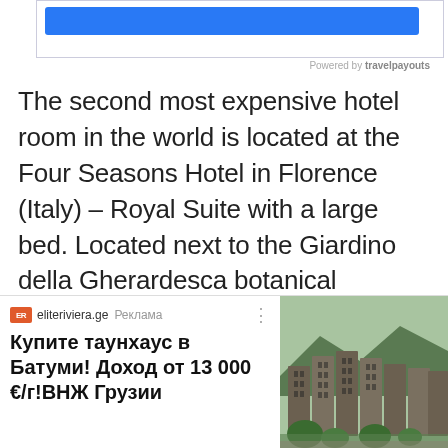[Figure (other): Widget box with blue button bar, bordered rectangle at top of page]
Powered by travelpayouts
The second most expensive hotel room in the world is located at the Four Seasons Hotel in Florence (Italy) – Royal Suite with a large bed. Located next to the Giardino della Gherardesca botanical garden, this 234 sqm room is decorated with exquisite stucco and frescoes evoking Florence's rich art history. Bright and spacious room decorated in Renaissance style and equipped with
[Figure (screenshot): Advertisement banner: eliteriviera.ge ad in Russian. Logo with FR in orange, site name eliteriviera.ge, label Реклама. Bold text: Купите таунхаус в Батуми! Доход от 13 000 €/г!ВНЖ Грузии. Right side shows photo of townhouse buildings with mountains in background.]